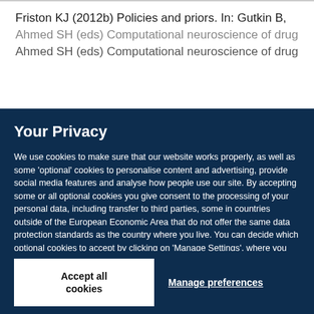Friston KJ (2012b) Policies and priors. In: Gutkin B, Ahmed SH (eds) Computational neuroscience of drug
Your Privacy
We use cookies to make sure that our website works properly, as well as some 'optional' cookies to personalise content and advertising, provide social media features and analyse how people use our site. By accepting some or all optional cookies you give consent to the processing of your personal data, including transfer to third parties, some in countries outside of the European Economic Area that do not offer the same data protection standards as the country where you live. You can decide which optional cookies to accept by clicking on 'Manage Settings', where you can also find more information about how your personal data is processed. Further information can be found in our privacy policy.
Accept all cookies
Manage preferences